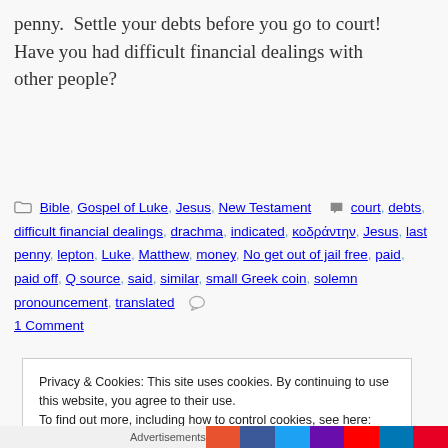penny. Settle your debts before you go to court! Have you had difficult financial dealings with other people?
Bible, Gospel of Luke, Jesus, New Testament  [tag icon]  court, debts, difficult financial dealings, drachma, indicated, κοδράντην, Jesus, last penny, lepton, Luke, Matthew, money, No get out of jail free, paid, paid off, Q source, said, similar, small Greek coin, solemn pronouncement, translated  [comment icon]  1 Comment
Privacy & Cookies: This site uses cookies. By continuing to use this website, you agree to their use.
To find out more, including how to control cookies, see here: Cookie Policy
Close and accept
Advertisements